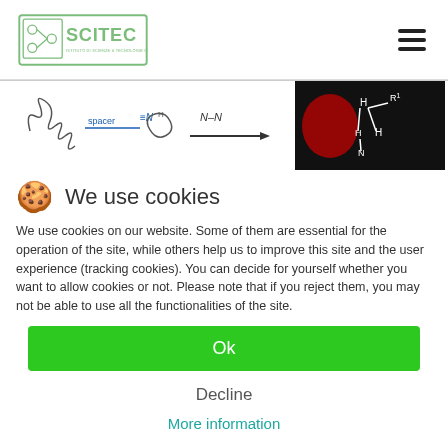[Figure (logo): SCITEC institute logo with green border and text 'ISTITUTO DI SCIENZE E TECNOLOGIE CHIMICHE GIULIO NATTA']
[Figure (illustration): Scientific chemistry/biology diagram showing polymer chain with spacer group, N-N bond arrow, and molecular structure with R1 group on dark background]
We use cookies
We use cookies on our website. Some of them are essential for the operation of the site, while others help us to improve this site and the user experience (tracking cookies). You can decide for yourself whether you want to allow cookies or not. Please note that if you reject them, you may not be able to use all the functionalities of the site.
Ok
Decline
More information